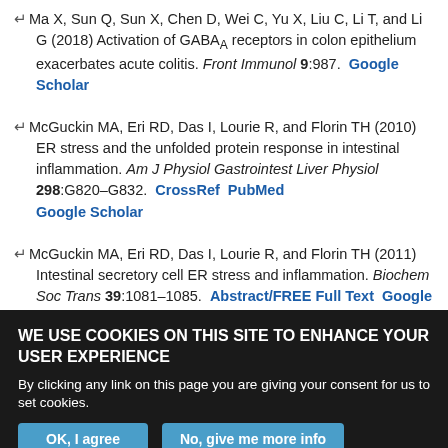Ma X, Sun Q, Sun X, Chen D, Wei C, Yu X, Liu C, Li T, and Li G (2018) Activation of GABAA receptors in colon epithelium exacerbates acute colitis. Front Immunol 9:987. Google Scholar
McGuckin MA, Eri RD, Das I, Lourie R, and Florin TH (2010) ER stress and the unfolded protein response in intestinal inflammation. Am J Physiol Gastrointest Liver Physiol 298:G820–G832. CrossRef PubMed Google Scholar
McGuckin MA, Eri RD, Das I, Lourie R, and Florin TH (2011) Intestinal secretory cell ER stress and inflammation. Biochem Soc Trans 39:1081–1085. Abstract/FREE Full Text Google Scholar
Mohammad I, Starskaia I, Nagy T, Guo J, Yatkin E, Väänänen K, Watford WT, and Chen Z (2018) Estrogen receptor α contributes to T cell-mediated
WE USE COOKIES ON THIS SITE TO ENHANCE YOUR USER EXPERIENCE
By clicking any link on this page you are giving your consent for us to set cookies.
OK, I agree   No, give me more info